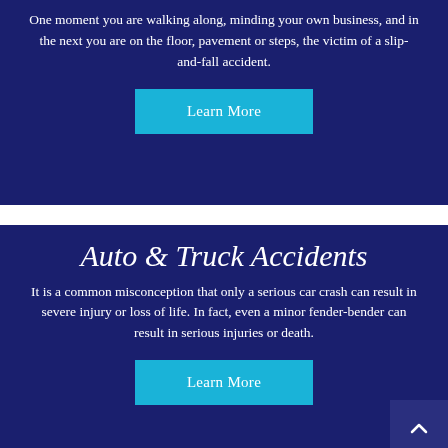One moment you are walking along, minding your own business, and in the next you are on the floor, pavement or steps, the victim of a slip-and-fall accident.
[Figure (other): Cyan 'Learn More' button]
Auto & Truck Accidents
It is a common misconception that only a serious car crash can result in severe injury or loss of life. In fact, even a minor fender-bender can result in serious injuries or death.
[Figure (other): Cyan 'Learn More' button]